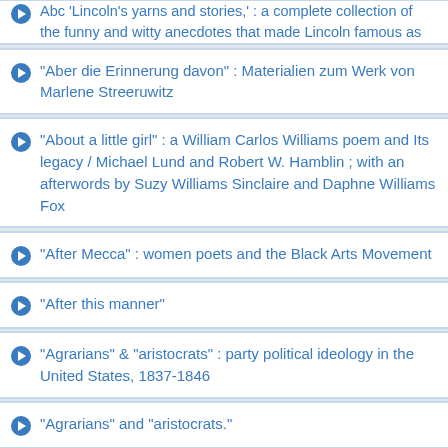Abc 'Lincoln's yarns and stories,' : a complete collection of the funny and witty anecdotes that made Lincoln famous as America's greatest story teller; with introduction and anecdotes
"Aber die Erinnerung davon" : Materialien zum Werk von Marlene Streeruwitz
"About a little girl" : a William Carlos Williams poem and Its legacy / Michael Lund and Robert W. Hamblin ; with an afterwords by Suzy Williams Sinclaire and Daphne Williams Fox
"After Mecca" : women poets and the Black Arts Movement
"After this manner"
"Agrarians" & "aristocrats" : party political ideology in the United States, 1837-1846
"Agrarians" and "aristocrats."